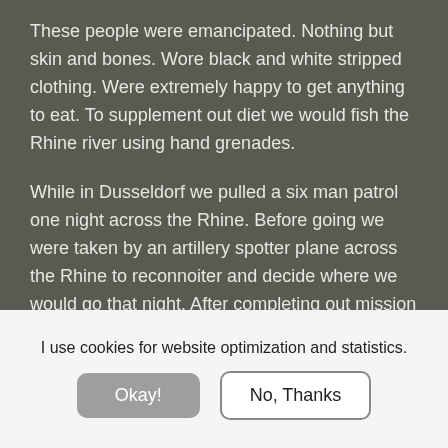These people were emancipated. Nothing but skin and bones. Wore black and white stripped clothing. Were extremely happy to get anything to eat. To supplement out diet we would fish the Rhine river using hand grenades.
While in Dusseldorf we pulled a six man patrol one night across the Rhine. Before going we were taken by an artillery spotter plane across the Rhine to reconnoiter and decide where we would go that night. After completing out mission and started back, when we were in about the middle of the river, all hell broke loose. The Germans heard us and opened up with their machine guns. Bet you have
I use cookies for website optimization and statistics.
Okay!
No, Thanks